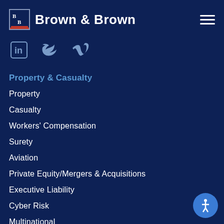[Figure (logo): Brown & Brown insurance company logo with BB monogram icon and brand name]
[Figure (illustration): Social media icons: LinkedIn, Twitter, Vimeo]
Property & Casualty
Property
Casualty
Workers' Compensation
Surety
Aviation
Private Equity/Mergers & Acquisitions
Executive Liability
Cyber Risk
Multinational
Analytics & Modeling
Risk Services